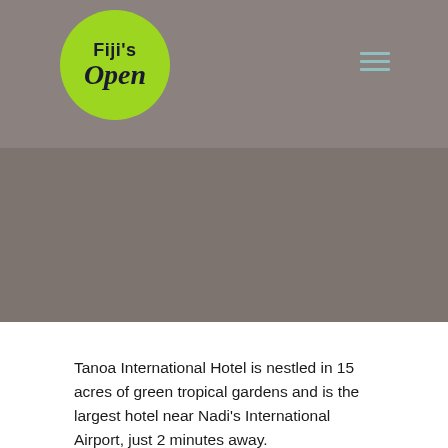[Figure (logo): Fiji's Open logo — green circle with 'Fiji's' in bold dark text and 'Open' in italic bold dark script]
[Figure (photo): Large hero image area with grey/taupe background color, likely a hotel or landscape photograph]
Tanoa International Hotel is nestled in 15 acres of green tropical gardens and is the largest hotel near Nadi's International Airport, just 2 minutes away.